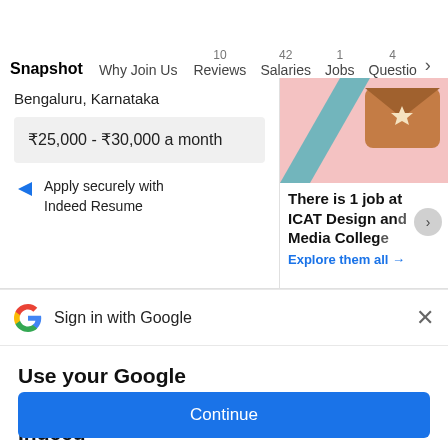Snapshot  Why Join Us  10 Reviews  42 Salaries  1 Jobs  4 Questio >
Bengaluru, Karnataka
₹25,000 - ₹30,000 a month
Apply securely with Indeed Resume
There is 1 job at ICAT Design and Media College
Explore them all →
Sign in with Google
Use your Google Account to sign in to Indeed
No more passwords to remember.
Signing in is fast, simple and secure.
Continue